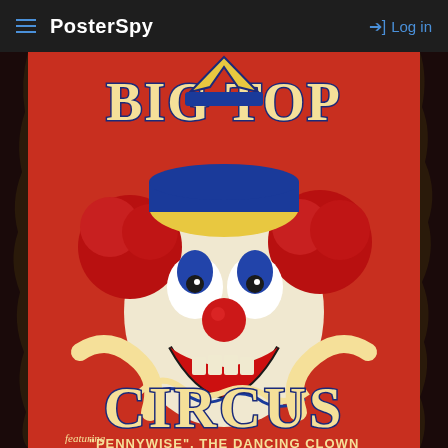PosterSpy — Log in
[Figure (illustration): Vintage-style circus poster featuring Pennywise the Dancing Clown from IT. Red background with 'Big Top Circus' text at top and bottom. The clown has white face paint, red nose, red pom-pom hair, blue accents, and a wide grinning expression. Bottom text reads: Featuring 'PENNYWISE', THE DANCING CLOWN]